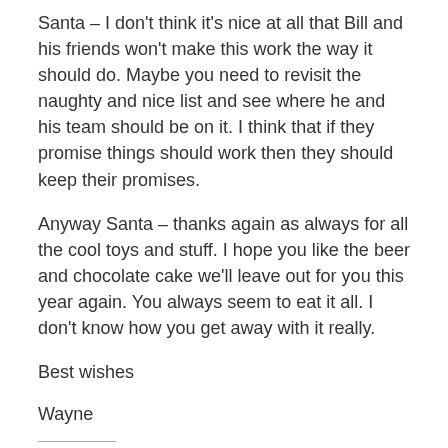Santa – I don't think it's nice at all that Bill and his friends won't make this work the way it should do. Maybe you need to revisit the naughty and nice list and see where he and his team should be on it. I think that if they promise things should work then they should keep their promises.
Anyway Santa – thanks again as always for all the cool toys and stuff. I hope you like the beer and chocolate cake we'll leave out for you this year again. You always seem to eat it all. I don't know how you get away with it really.
Best wishes
Wayne
Share this: